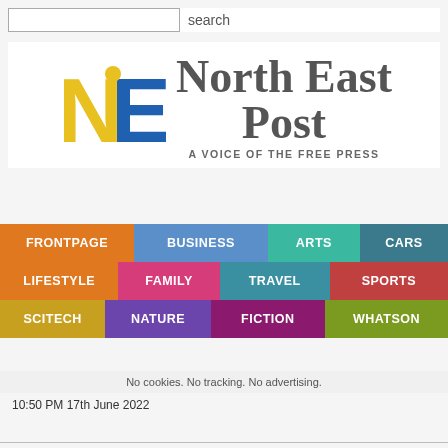search
[Figure (logo): North East Post logo: NE letters in yellow and blue with a dot, beside text 'North East Post - A VOICE OF THE FREE PRESS']
North East Post
A VOICE OF THE FREE PRESS
FRONTPAGE
BUSINESS
ARTS
CARS
LIFESTYLE
FAMILY
TRAVEL
SPORTS
SCITECH
NATURE
FICTION
WHATSON
No cookies. No tracking. No advertising.
10:50 PM 17th June 2022